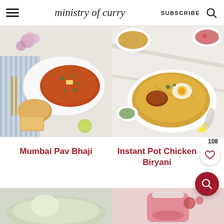ministry of curry  SUBSCRIBE  🔍
[Figure (photo): Overhead photo of Mumbai Pav Bhaji dish: orange-red curry in a white oval plate with butter on top, served with pav (bread rolls) and garnished with cilantro. Gold cutlery on striped cloth.]
[Figure (photo): Overhead photo of Instant Pot Chicken Biryani: golden spiced rice in white bowls topped with halved boiled eggs, lemon wedges, cilantro, and side dishes.]
Mumbai Pav Bhaji
Instant Pot Chicken Biryani
[Figure (photo): Partial view of bottom food images: left shows a pale green/cream colored dish, right shows a pink/red colored drink or dish.]